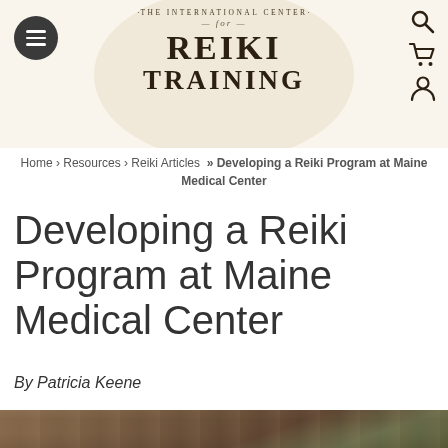[Figure (logo): The International Center for Reiki Training logo with hamburger menu and icons]
Home › Resources › Reiki Articles » Developing a Reiki Program at Maine Medical Center
Developing a Reiki Program at Maine Medical Center
By Patricia Keene
[Figure (photo): Aerial photograph of Maine Medical Center buildings]